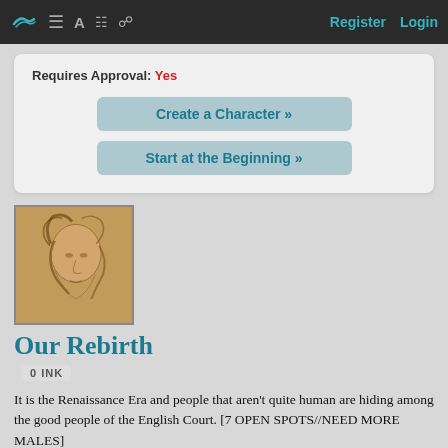Register   Login
Requires Approval: Yes
Create a Character »
Start at the Beginning »
[Figure (illustration): Renaissance-style sketch portrait of a woman looking downward, reminiscent of Leonardo da Vinci style drawing]
Our Rebirth
0 INK
It is the Renaissance Era and people that aren't quite human are hiding among the good people of the English Court. [7 OPEN SPOTS//NEED MORE MALES]
2,430 readers have visited Our Rebirth since Felilla created it.